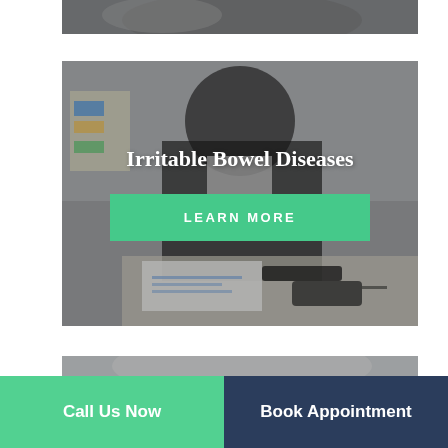[Figure (photo): Partial top strip of a person in distress, cropped at bottom of previous card]
[Figure (photo): Person in black blazer leaning over desk holding stomach in pain, with papers and glasses on desk, darkened/overlay photo background for Irritable Bowel Diseases card]
Irritable Bowel Diseases
LEARN MORE
[Figure (photo): Partial bottom strip showing a person in pain/distress, cropped at top of next card]
Call Us Now
Book Appointment